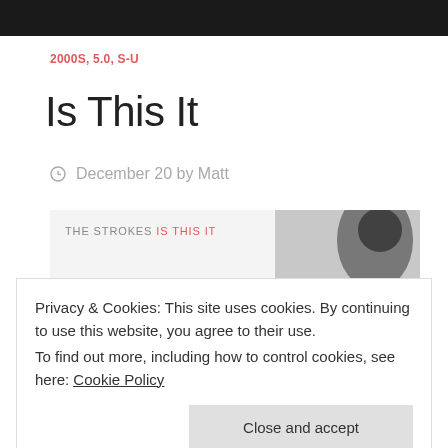2000S, 5.0, S-U
Is This It
December 20 by Matt
[Figure (photo): Album cover thumbnail for The Strokes - Is This It, showing partial text label 'THE STROKES IS THIS IT' and a photograph of a person's back/head in black and white]
Privacy & Cookies: This site uses cookies. By continuing to use this website, you agree to their use.
To find out more, including how to control cookies, see here: Cookie Policy
Close and accept